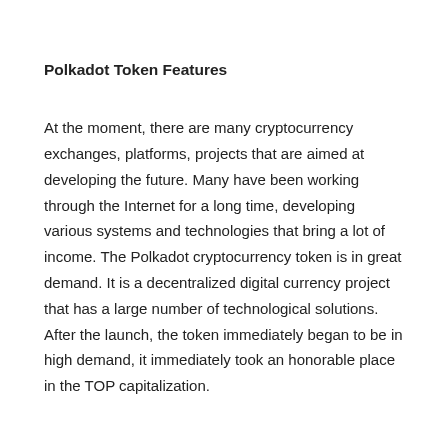Polkadot Token Features
At the moment, there are many cryptocurrency exchanges, platforms, projects that are aimed at developing the future. Many have been working through the Internet for a long time, developing various systems and technologies that bring a lot of income. The Polkadot cryptocurrency token is in great demand. It is a decentralized digital currency project that has a large number of technological solutions. After the launch, the token immediately began to be in high demand, it immediately took an honorable place in the TOP capitalization.